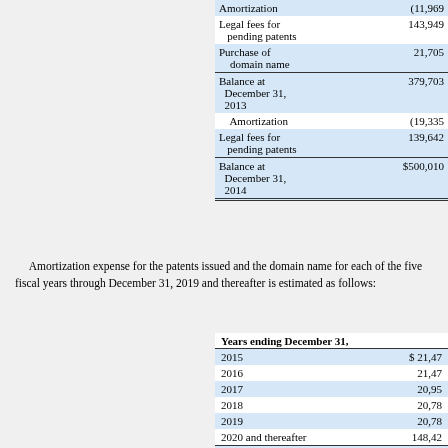| Description | Amount |
| --- | --- |
| Amortization | (11,969) |
| Legal fees for pending patents | 143,949 |
| Purchase of domain name | 21,705 |
| Balance at December 31, 2013 | 379,703 |
| Amortization | (19,335) |
| Legal fees for pending patents | 139,642 |
| Balance at December 31, 2014 | $500,010 |
Amortization expense for the patents issued and the domain name for each of the five fiscal years through December 31, 2019 and thereafter is estimated as follows:
| Years ending December 31, |  |
| --- | --- |
| 2015 | $ 21,47 |
| 2016 | 21,47 |
| 2017 | 20,95 |
| 2018 | 20,78 |
| 2019 | 20,78 |
| 2020 and thereafter | 148,42 |
| Total amortization expense | $253,88 |